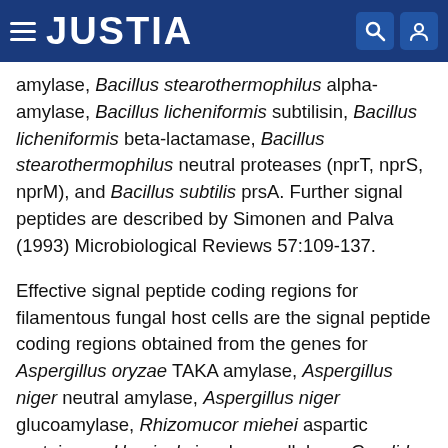JUSTIA
amylase, Bacillus stearothermophilus alpha-amylase, Bacillus licheniformis subtilisin, Bacillus licheniformis beta-lactamase, Bacillus stearothermophilus neutral proteases (nprT, nprS, nprM), and Bacillus subtilis prsA. Further signal peptides are described by Simonen and Palva (1993) Microbiological Reviews 57:109-137.
Effective signal peptide coding regions for filamentous fungal host cells are the signal peptide coding regions obtained from the genes for Aspergillus oryzae TAKA amylase, Aspergillus niger neutral amylase, Aspergillus niger glucoamylase, Rhizomucor miehei aspartic proteinase, Humicola insolens cellulase, Candida antarctica lipase and Humicola lanuginosa lipase.
Useful signal peptides for yeast host cells are obtained from the genes for Saccharomyces cerevisiae alpha-factor and...